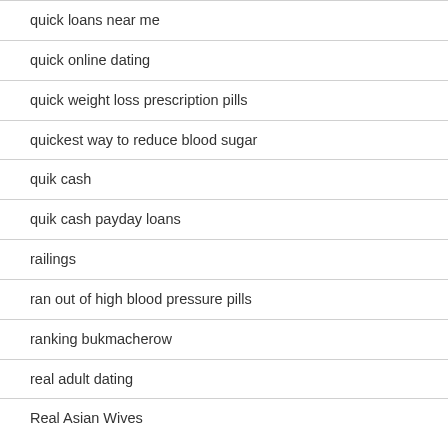quick loans near me
quick online dating
quick weight loss prescription pills
quickest way to reduce blood sugar
quik cash
quik cash payday loans
railings
ran out of high blood pressure pills
ranking bukmacherow
real adult dating
Real Asian Wives